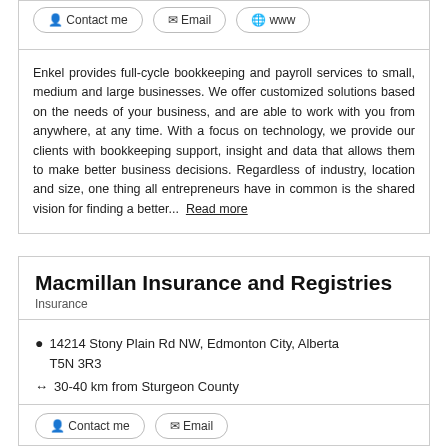Contact me
Email
www
Enkel provides full-cycle bookkeeping and payroll services to small, medium and large businesses. We offer customized solutions based on the needs of your business, and are able to work with you from anywhere, at any time. With a focus on technology, we provide our clients with bookkeeping support, insight and data that allows them to make better business decisions. Regardless of industry, location and size, one thing all entrepreneurs have in common is the shared vision for finding a better...  Read more
Macmillan Insurance and Registries
Insurance
14214 Stony Plain Rd NW, Edmonton City, Alberta T5N 3R3
30-40 km from Sturgeon County